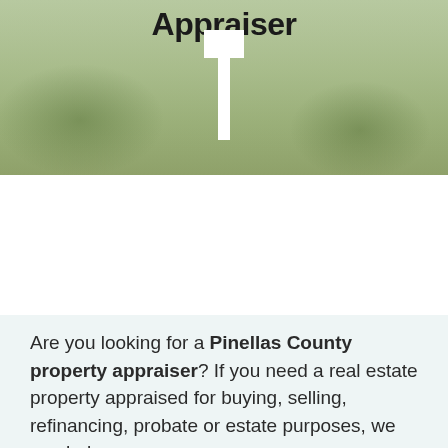[Figure (photo): Outdoor photo background showing green grass lawn with curved driveway, trees and shrubs, with a white for-sale/appraisal sign post in the center. Text 'Appraiser' overlaid at top.]
Appraiser
Need An Appraisal For A Property In Southwest Florida? Call (941) 743-3700
Are you looking for a Pinellas County property appraiser? If you need a real estate property appraised for buying, selling, refinancing, probate or estate purposes, we can help.